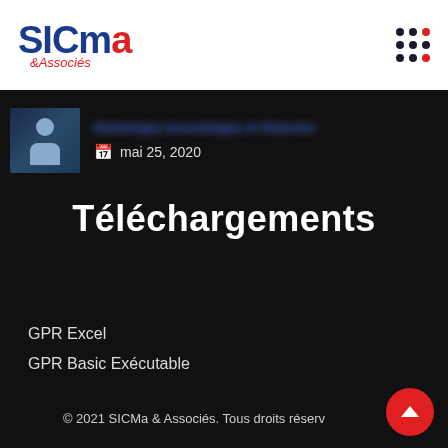[Figure (logo): SICMa & Associés logo with blue SICMa text and red 'a', with red italic '&Associés' below]
mai 25, 2020
Téléchargements
GPR Excel
GPR Basic Exécutable
© 2021 SICMa & Associés. Tous droits réservés